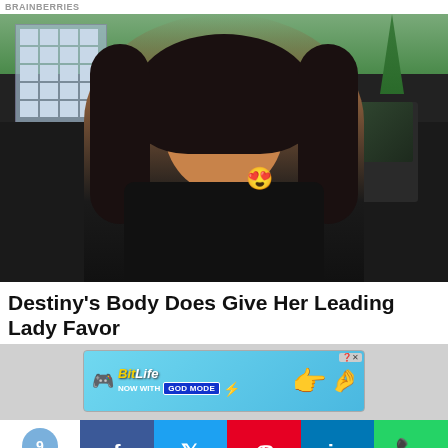BRAINBERRIES
[Figure (photo): Young woman with curly hair wearing a black top with a heart-eyes emoji sticker, posing with hands near her face, standing beside a dark car with a building in the background]
Destiny's Body Does Give Her Leading Lady Favored
[Figure (screenshot): BitLife advertisement banner: NOW WITH GOD MODE, with pointing hand emoji and close button]
9 Shares
f  twitter  pinterest  in  whatsapp share buttons